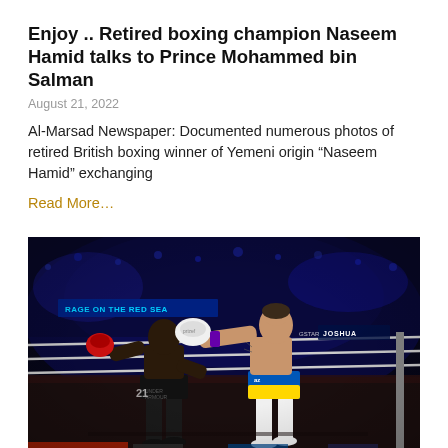Enjoy .. Retired boxing champion Naseem Hamid talks to Prince Mohammed bin Salman
August 21, 2022
Al-Marsad Newspaper: Documented numerous photos of retired British boxing winner of Yemeni origin “Naseem Hamid” exchanging
Read More…
[Figure (photo): Two boxers in a professional boxing ring during a match. One boxer in dark shorts (left) and another in white and yellow/blue Ukrainian-flag-colored shorts (right) throwing a punch. The arena is dark with blue lighting effects. Banner in background reads 'RAGE ON THE RED SEA'. Ringside signage includes 'JOSHUA'.]